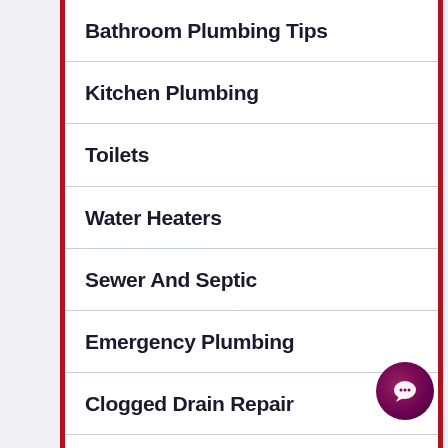Bathroom Plumbing Tips
Kitchen Plumbing
Toilets
Water Heaters
Sewer And Septic
Emergency Plumbing
Clogged Drain Repair
Pipe Repair